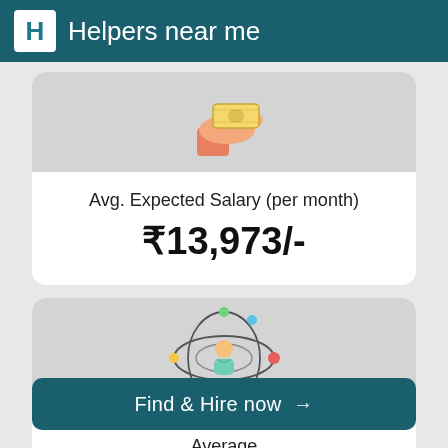Helpers near me
[Figure (illustration): Hand receiving money icon on grey background]
Avg. Expected Salary (per month)
₹13,973/-
[Figure (illustration): Person surrounded by orbiting dots network icon on grey background]
Average
Work Experience
Find & Hire now →